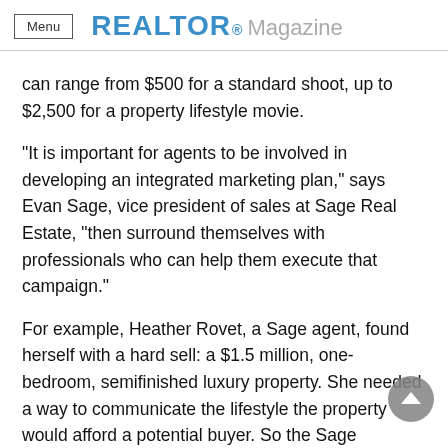Menu  REALTOR® Magazine
can range from $500 for a standard shoot, up to $2,500 for a property lifestyle movie.
"It is important for agents to be involved in developing an integrated marketing plan," says Evan Sage, vice president of sales at Sage Real Estate, "then surround themselves with professionals who can help them execute that campaign."
For example, Heather Rovet, a Sage agent, found herself with a hard sell: a $1.5 million, one-bedroom, semifinished luxury property. She needed a way to communicate the lifestyle the property would afford a potential buyer. So the Sage marketing department hired an outside videographer to direct and produce a